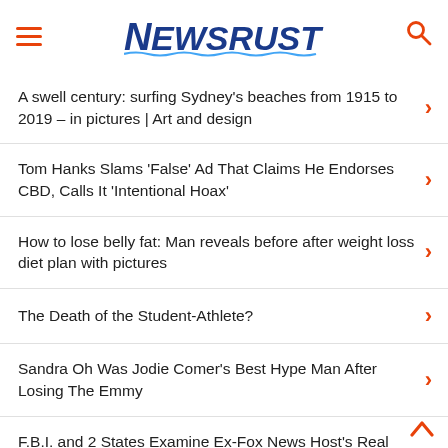NEWSRUST
A swell century: surfing Sydney's beaches from 1915 to 2019 – in pictures | Art and design
Tom Hanks Slams 'False' Ad That Claims He Endorses CBD, Calls It 'Intentional Hoax'
How to lose belly fat: Man reveals before after weight loss diet plan with pictures
The Death of the Student-Athlete?
Sandra Oh Was Jodie Comer's Best Hype Man After Losing The Emmy
F.B.I. and 2 States Examine Ex-Fox News Host's Real Estate Business